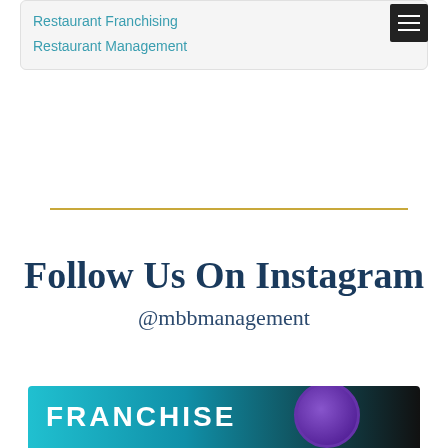Restaurant Franchising
Restaurant Management
Follow Us On Instagram
@mbbmanagement
[Figure (screenshot): Franchise banner image with teal gradient background and 'FRANCHISE' text in white bold letters, with a dark circular element on the right side]